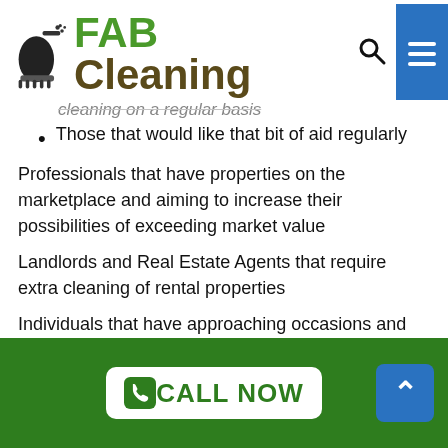FAB Cleaning
cleaning on a regular basis
Those that would like that bit of aid regularly
Professionals that have properties on the marketplace and aiming to increase their possibilities of exceeding market value
Landlords and Real Estate Agents that require extra cleaning of rental properties
Individuals that have approaching occasions and require a once-off clean
Property owners desiring help with spring cleaning
When you are prepared to set up an appointment for
CALL NOW